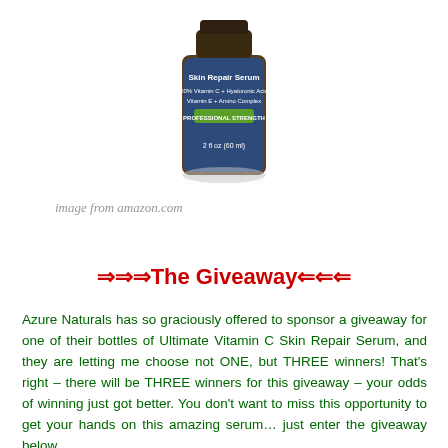[Figure (photo): A dark amber glass bottle of Azure Naturals Ultimate Skin Repair Serum with a blue label reading '20% Vitamin C + Hyaluronic Acid Vitamin E + Amino Complex PROFESSIONAL STRENGTH 2 fl oz (60 ml)']
image from amazon.com
⇒⇒⇒The Giveaway⇐⇐⇐
Azure Naturals has so graciously offered to sponsor a giveaway for one of their bottles of Ultimate Vitamin C Skin Repair Serum, and they are letting me choose not ONE, but THREE winners! That's right – there will be THREE winners for this giveaway – your odds of winning just got better. You don't want to miss this opportunity to get your hands on this amazing serum… just enter the giveaway below...